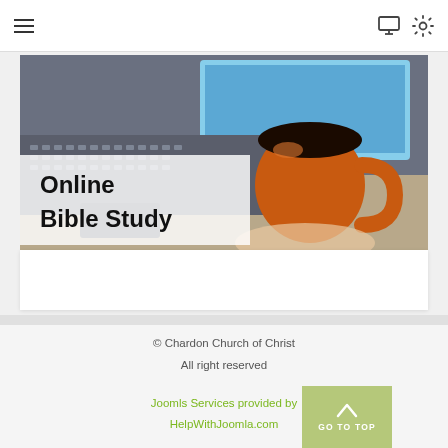≡  [monitor icon] [settings icon]
[Figure (photo): Photo of a laptop keyboard and an orange coffee mug on a desk with text overlay 'Online Bible Study']
© Chardon Church of Christ
All right reserved
Joomls Services provided by HelpWithJoomla.com
GO TO TOP